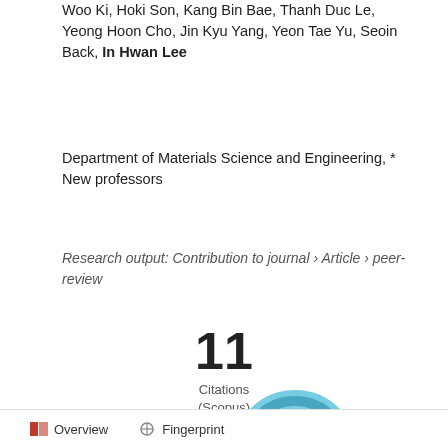Woo Ki, Hoki Son, Kang Bin Bae, Thanh Duc Le, Yeong Hoon Cho, Jin Kyu Yang, Yeon Tae Yu, Seoin Back, In Hwan Lee
Department of Materials Science and Engineering, * New professors
Research output: Contribution to journal › Article › peer-review
[Figure (other): Citations count: 11 Citations (Scopus)]
[Figure (donut-chart): Donut chart showing 1 item, teal/blue ring with white center showing number 1]
[Figure (other): Pink/rose scroll-to-top button with upward chevron arrow]
Overview   Fingerprint